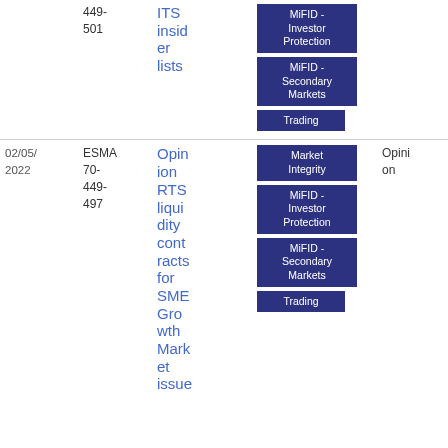| Date | Reference | Title | Tags | Type | Download |
| --- | --- | --- | --- | --- | --- |
|  | 449-501 | ITS insider lists | MiFID - Investor Protection | MiFID - Secondary Markets | Trading |  | 1.76 MB |
| 02/05/2022 | ESMA 70-449-497 | Opinion RTS liquidity contracts for SME Growth Market issue | Market Integrity | MiFID - Investor Protection | MiFID - Secondary Markets | Trading | Opinion | PDF 849.59 KB |